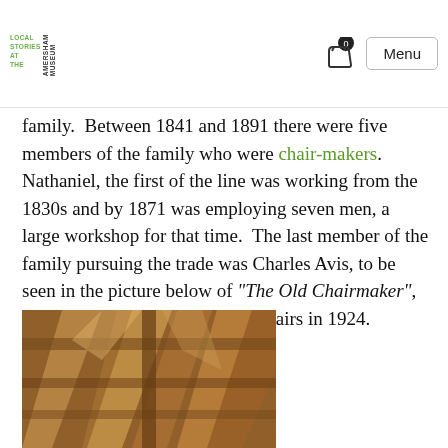LOCAL STORIES AT THE AMERSHAM MUSEUM | Menu
family.  Between 1841 and 1891 there were five members of the family who were chair-makers. Nathaniel, the first of the line was working from the 1830s and by 1871 was employing seven men, a large workshop for that time.  The last member of the family pursuing the trade was Charles Avis, to be seen in the picture below of "The Old Chairmaker", who was still making Windsor chairs in 1924.
[Figure (photo): Photograph showing wooden beams and framework, likely the interior of an old workshop or barn with timber construction visible.]